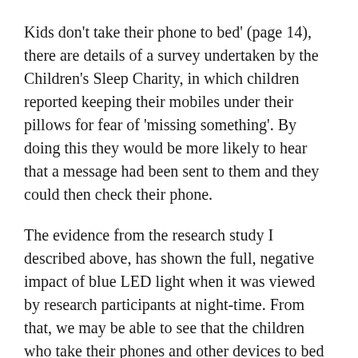Kids don't take their phone to bed' (page 14), there are details of a survey undertaken by the Children's Sleep Charity, in which children reported keeping their mobiles under their pillows for fear of 'missing something'. By doing this they would be more likely to hear that a message had been sent to them and they could then check their phone.
The evidence from the research study I described above, has shown the full, negative impact of blue LED light when it was viewed by research participants at night-time. From that, we may be able to see that the children who take their phones and other devices to bed will be exposed to blue LED light, which will impact on the ability of the children to get a decent night's sleep.